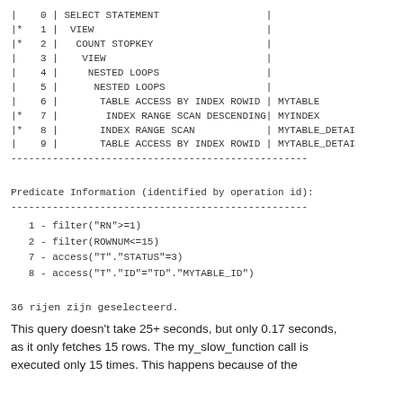|    0 | SELECT STATEMENT                  |
|*   1 |  VIEW                             |
|*   2 |   COUNT STOPKEY                   |
|    3 |    VIEW                           |
|    4 |     NESTED LOOPS                  |
|    5 |      NESTED LOOPS                 |
|    6 |       TABLE ACCESS BY INDEX ROWID | MYTABLE
|*   7 |        INDEX RANGE SCAN DESCENDING| MYINDEX
|*   8 |       INDEX RANGE SCAN            | MYTABLE_DETAI
|    9 |       TABLE ACCESS BY INDEX ROWID | MYTABLE_DETAI
Predicate Information (identified by operation id):
1 - filter("RN">=1)
   2 - filter(ROWNUM<=15)
   7 - access("T"."STATUS"=3)
   8 - access("T"."ID"="TD"."MYTABLE_ID")
36 rijen zijn geselecteerd.
This query doesn't take 25+ seconds, but only 0.17 seconds, as it only fetches 15 rows. The my_slow_function call is executed only 15 times. This happens because of the